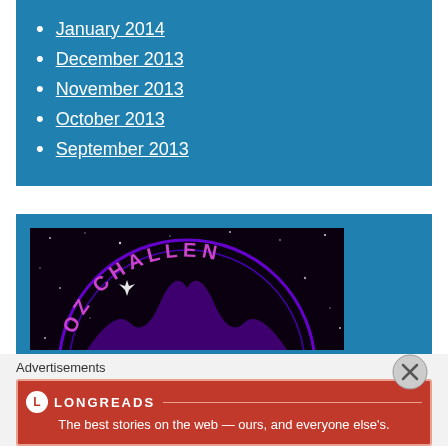January 2014
December 2013
November 2013
October 2013
September 2013
[Figure (illustration): OZ Challenge logo on a dark space background with purple circular badge and text]
Advertisements
[Figure (other): Longreads advertisement banner: 'The best stories on the web — ours, and everyone else's.']